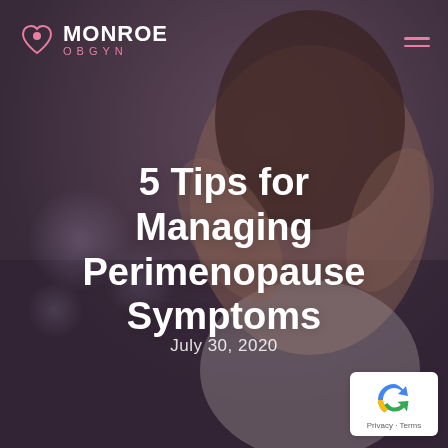[Figure (photo): Woman with curly hair holding her head with both hands, eyes closed, appearing distressed, against a blurred indoor background. Overlay is dark purple-gray.]
MONROE OBGYN
5 Tips for Managing Perimenopause Symptoms
July 30, 2020